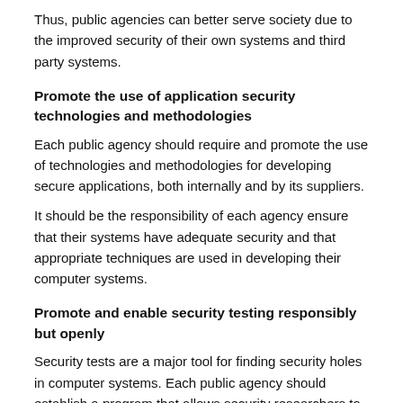Thus, public agencies can better serve society due to the improved security of their own systems and third party systems.
Promote the use of application security technologies and methodologies
Each public agency should require and promote the use of technologies and methodologies for developing secure applications, both internally and by its suppliers.
It should be the responsibility of each agency ensure that their systems have adequate security and that appropriate techniques are used in developing their computer systems.
Promote and enable security testing responsibly but openly
Security tests are a major tool for finding security holes in computer systems. Each public agency should establish a program that allows security researchers to conduct tests on their systems in order to locate faults and should repair the vulnerabilities as soon as possible.
We emphasize that the tests should be done in an ethical and responsible way and should be seen as a form of collaboration to